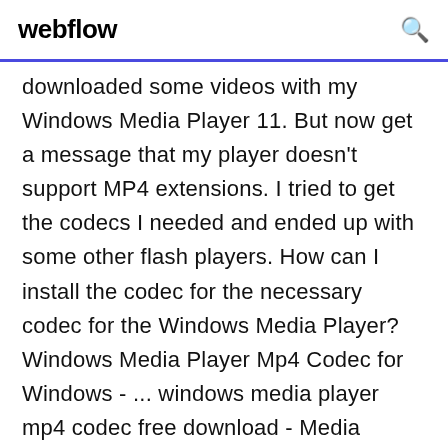webflow
downloaded some videos with my Windows Media Player 11. But now get a message that my player doesn't support MP4 extensions. I tried to get the codecs I needed and ended up with some other flash players. How can I install the codec for the necessary codec for the Windows Media Player? Windows Media Player Mp4 Codec for Windows - ... windows media player mp4 codec free download - Media Player Codec Pack, mp3 codec for Windows Media Player, Windows Essentials Media Codec Pack, and many more programs Codec Installation Package for Windows Media ...